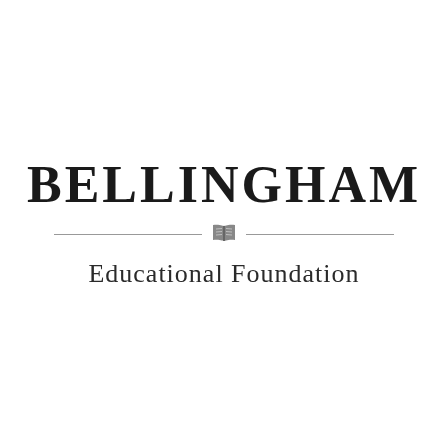[Figure (logo): Bellingham Educational Foundation logo: large serif bold text 'BELLINGHAM' above a horizontal divider with a book icon in the center, and 'Educational Foundation' in smaller serif text below.]